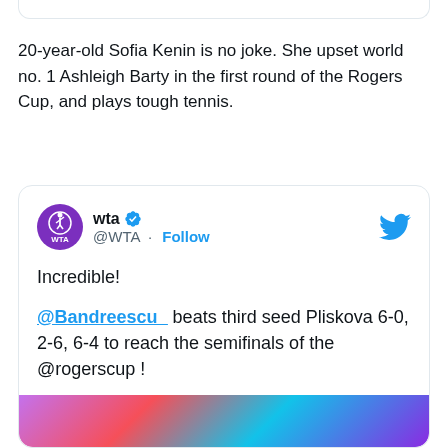20-year-old Sofia Kenin is no joke. She upset world no. 1 Ashleigh Barty in the first round of the Rogers Cup, and plays tough tennis.
[Figure (screenshot): Tweet from @WTA account. Header shows WTA logo (purple circular logo with tennis player), display name 'wta' with blue verified checkmark, handle '@WTA · Follow', and Twitter bird icon top right. Tweet body reads: 'Incredible! @Bandreescu_ beats third seed Pliskova 6-0, 2-6, 6-4 to reach the semifinals of the @rogerscup ! #RC19'. Bottom shows partial image (blurred colorful photo).]